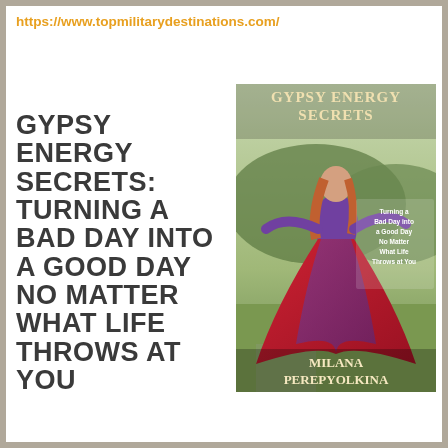https://www.topmilitarydestinations.com/
GYPSY ENERGY SECRETS: TURNING A BAD DAY INTO A GOOD DAY NO MATTER WHAT LIFE THROWS AT YOU
[Figure (photo): Book cover of 'Gypsy Energy Secrets' by Milana Perepyolkina. Shows a woman in a flowing red and purple gypsy dress dancing outdoors. The cover text reads 'Gypsy Energy Secrets', 'Turning a Bad Day into a Good Day No Matter What Life Throws at You', and 'Milana Perepyolkina'.]